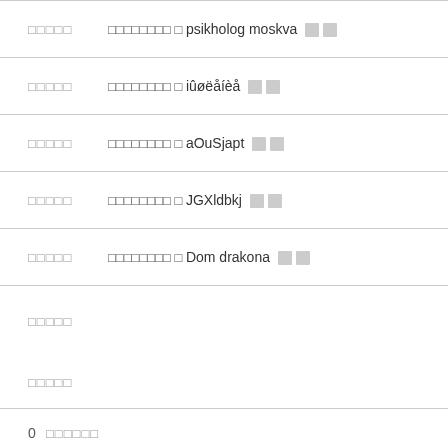□□□□□   □□□□□□□□ □ psikholog moskva □□
□□□□□   □□□□□□□□ □ iûøëåíèå □□
□□□□□   □□□□□□□□ □ aOuSjapt □□
□□□□□   □□□□□□□□ □ JGXldbkj □□
□□□□□   □□□□□□□□ □ Dom drakona □□
□□□□□
□□□□□
0  □□□□□□
B□□□
B□□□□□□□□□□□